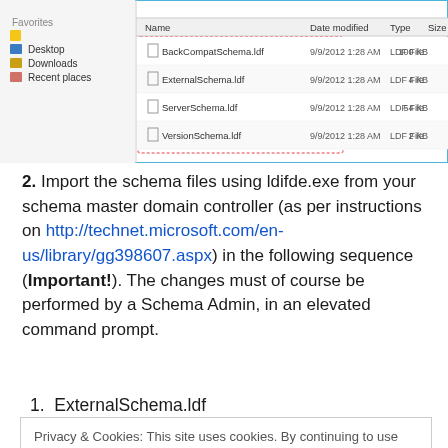[Figure (screenshot): Windows file explorer showing four LDF files: BackCompatSchema.ldf (100 KB), ExternalSchema.ldf (4 KB), ServerSchema.ldf (54 KB), VersionSchema.ldf (2 KB), all dated 9/9/2012 1:28 AM. Favorites panel visible with Desktop, Downloads, Recent places.]
2. Import the schema files using ldifde.exe from your schema master domain controller (as per instructions on http://technet.microsoft.com/en-us/library/gg398607.aspx) in the following sequence (Important!). The changes must of course be performed by a Schema Admin, in an elevated command prompt.
1. ExternalSchema.ldf
Privacy & Cookies: This site uses cookies. By continuing to use this website, you agree to their use.
To find out more, including how to control cookies, see here: Cookie Policy
[Close and accept]